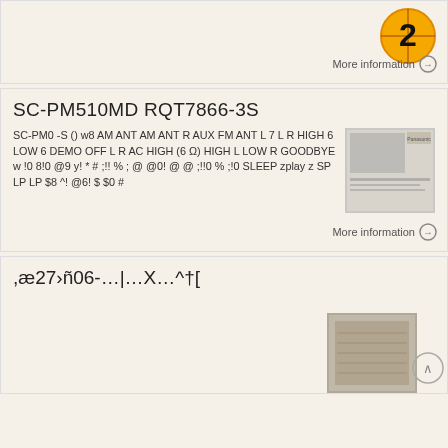[Figure (logo): Orange circular target badge with the number 2 in black]
More information →
SC-PM510MD RQT7866-3S
SC-PM0 -S () w8 AM ANT AM ANT R AUX FM ANT L 7 L R HIGH 6 LOW 6 DEMO OFF L R AC HIGH (6 Ω) HIGH L LOW R GOODBYE w !0 8!0 @9 y! * # ;!! % ; @ @0! @ @ ;!!0 % ;!0 SLEEP zplay z SP LP LP $8 ^! @6! $ $0 #
[Figure (photo): Small product image of a Panasonic device]
More information →
,æ27›ñ06-…|…X…^†[
[Figure (photo): Stone or concrete surface with inscriptions]